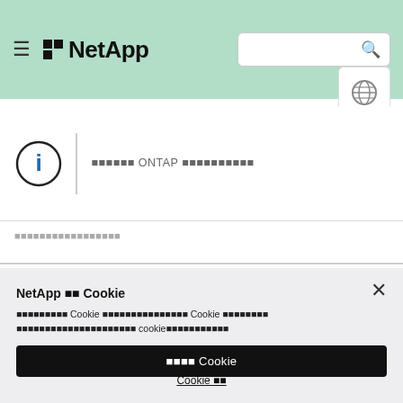NetApp [logo] [search bar]
[Figure (logo): NetApp logo with hamburger menu icon, search bar, and globe language selector button on green header background]
⬛⬛⬛⬛⬛⬛ ONTAP ⬛⬛⬛⬛⬛⬛⬛⬛⬛⬛
⬛⬛⬛⬛⬛⬛⬛⬛⬛⬛⬛⬛⬛⬛⬛⬛
NetApp ⬛⬛ Cookie
⬛⬛⬛⬛⬛⬛⬛⬛⬛ Cookie ⬛⬛⬛⬛⬛⬛⬛⬛⬛⬛⬛⬛⬛⬛⬛ Cookie ⬛⬛⬛⬛⬛⬛⬛⬛ ⬛⬛⬛⬛⬛⬛⬛⬛⬛⬛⬛⬛⬛⬛⬛⬛⬛⬛⬛⬛⬛ cookie⬛⬛⬛⬛⬛⬛⬛⬛⬛⬛⬛
⬛⬛⬛⬛ Cookie
Cookie ⬛⬛